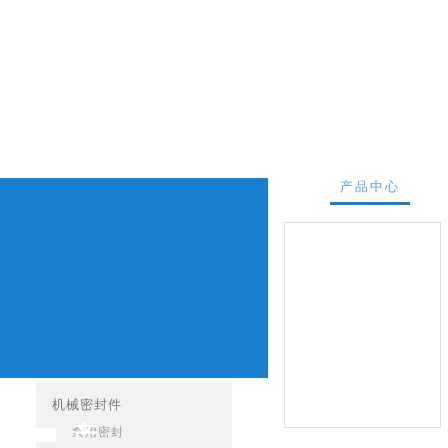产品中心 PRODUCTS CENTER
机械密封件
泵用密封
搅拌器用机械密封
压缩机
产品中心